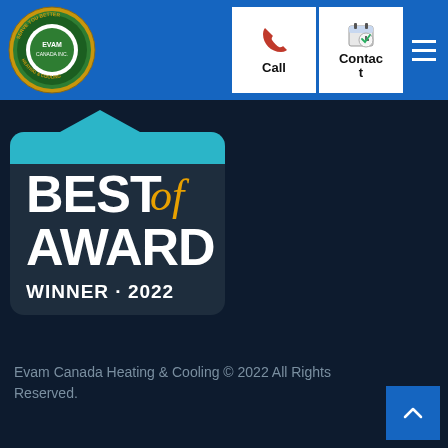[Figure (logo): Evam Canada Heating & Cooling circular logo with green and gold design, text 'SERVE YOU BETTER', 'EVAM CANADA INC.', 'HEATING & COOLING' on blue header background]
[Figure (screenshot): Call button with red phone icon and label 'Call' on white background]
[Figure (screenshot): Contact button with calendar/clock icon and label 'Contact' on white background]
[Figure (illustration): Hamburger menu icon with three white horizontal lines on blue background]
[Figure (illustration): Best of Award Winner 2022 badge on dark navy rounded rectangle with speech bubble top, white bold text 'BEST of AWARD WINNER · 2022' with orange italic 'of']
Evam Canada Heating & Cooling © 2022 All Rights Reserved.